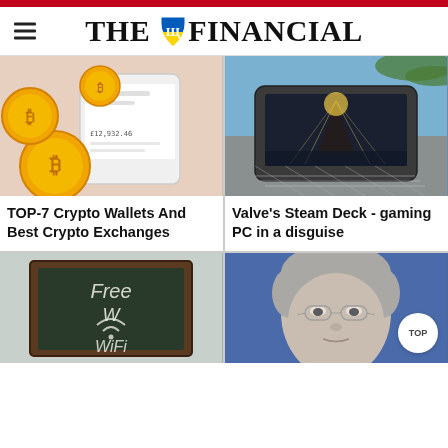THE FINANCIAL
[Figure (photo): Gold Bitcoin coins resting on a smartphone showing a cryptocurrency price screen]
[Figure (photo): Hands holding a Steam Deck gaming handheld with a dark game scene displayed, resting on a hammock net]
TOP-7 Crypto Wallets And Best Crypto Exchanges
Valve's Steam Deck - gaming PC in a disguise
[Figure (photo): Chalkboard sign reading 'Free WiFi' with a WiFi symbol]
[Figure (photo): Close-up of an older man with gray hair and rimless glasses against a blue background]